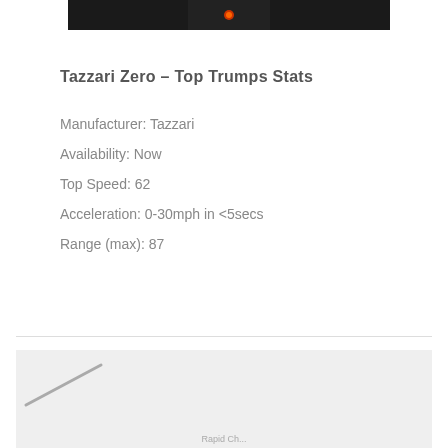[Figure (photo): Dark/black image of Tazzari Zero car, partially visible at top of page with orange detail visible]
Tazzari Zero – Top Trumps Stats
Manufacturer: Tazzari
Availability: Now
Top Speed: 62
Acceleration: 0-30mph in <5secs
Range (max): 87
[Figure (map): Partial view of a map with light grey background, a diagonal line/road visible in the lower left, and partial label text at the bottom]